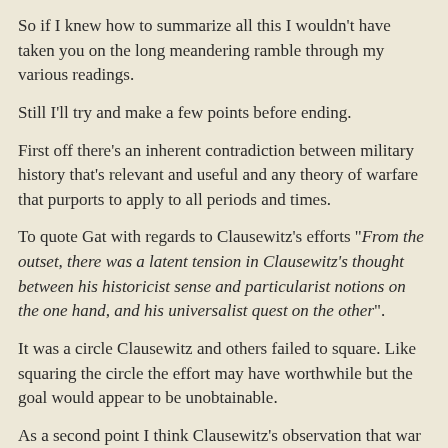So if I knew how to summarize all this I wouldn't have taken you on the long meandering ramble through my various readings.
Still I'll try and make a few points before ending.
First off there's an inherent contradiction between military history that's relevant and useful and any theory of warfare that purports to apply to all periods and times.
To quote Gat with regards to Clausewitz's efforts "From the outset, there was a latent tension in Clausewitz's thought between his historicist sense and particularist notions on the one hand, and his universalist quest on the other".
It was a circle Clausewitz and others failed to square. Like squaring the circle the effort may have worthwhile but the goal would appear to be unobtainable.
As a second point I think Clausewitz's observation that war is the continuation of politics by other means is useful. It is not just a platitude.
In fact, I think it's worth asking how we came to think of regular politics in times of peace and war as being separate. Tribal societies and empires have dominated most of the history of most